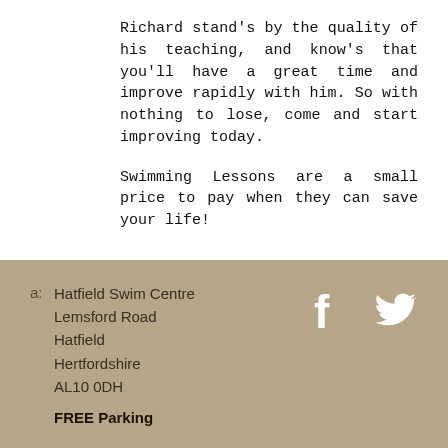Richard stand's by the quality of his teaching, and know's that you'll have a great time and improve rapidly with him. So with nothing to lose, come and start improving today.
Swimming Lessons are a small price to pay when they can save your life!
a: Hatfield Swim Centre Lemsford Road Hatfield Hertfordshire AL10 0DH
FREE Parking
m: 07739973807
e: richard.munt432@gmail.com